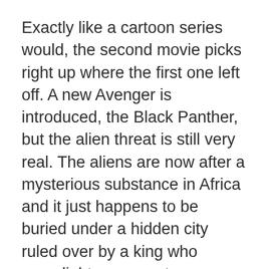Exactly like a cartoon series would, the second movie picks right up where the first one left off. A new Avenger is introduced, the Black Panther, but the alien threat is still very real. The aliens are now after a mysterious substance in Africa and it just happens to be buried under a hidden city ruled over by a king who moonlights as a costume-wearing, jungle-wandering superhero.
Even though the group of heroes is already gathered together this 73 minute movie seems to waste quite a bit of time discussing "should we, or shouldn't we" when considering the land of the Black Panther. A lot of bickering about them trespassing wastes precious minutes and seemed to bring the movie to a standstill.